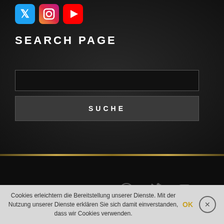[Figure (screenshot): Social media icons for Twitter (blue bird), Instagram (gradient camera), YouTube (red play button)]
SEARCH PAGE
[Figure (screenshot): Search input field - dark/black background with grey border]
[Figure (screenshot): Search button labeled SUCHE in uppercase letters]
[Figure (screenshot): Footer with social media icons: b (Bandcamp), f (Facebook), YouTube, Spotify, Twitter, Instagram - all in grey]
Cookies erleichtern die Bereitstellung unserer Dienste. Mit der Nutzung unserer Dienste erklären Sie sich damit einverstanden, dass wir Cookies verwenden.
OK